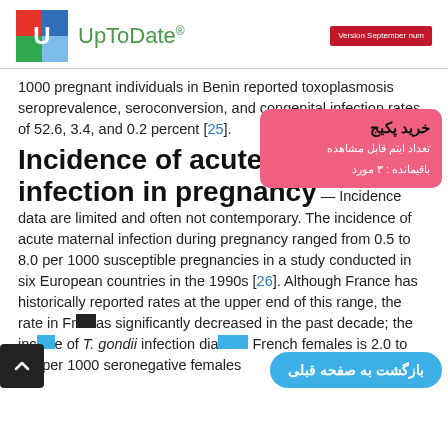UpToDate® — Version September num
1000 pregnant individuals in Benin reported toxoplasmosis seroprevalence, seroconversion, and congenital infection rates of 52.6, 3.4, and 0.2 percent [25].
Incidence of acute primary infection in pregnancy
— Incidence data are limited and often not contemporary. The incidence of acute maternal infection during pregnancy ranged from 0.5 to 8.0 per 1000 susceptible pregnancies in a study conducted in six European countries in the 1990s [26]. Although France has historically reported rates at the upper end of this range, the rate in France has significantly decreased in the past decade; the incidence of T. gondii infection diagnosed among seronegative French females is 2.0 to 2.5 per 1000 seronegative females